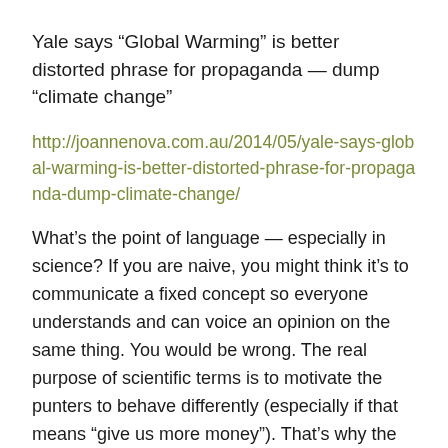Yale says “Global Warming” is better distorted phrase for propaganda — dump “climate change”
http://joannenova.com.au/2014/05/yale-says-global-warming-is-better-distorted-phrase-for-propaganda-dump-climate-change/
What’s the point of language — especially in science? If you are naive, you might think it’s to communicate a fixed concept so everyone understands and can voice an opinion on the same thing. You would be wrong. The real purpose of scientific terms is to motivate the punters to behave differently (especially if that means “give us more money”). That’s why the Yale Project on Climate Change Communication has assigned 5 PhD’s and a guy called Feinberg to spend days, weeks and months analyzing surveys to find out which propaganda term is more “effective”. The